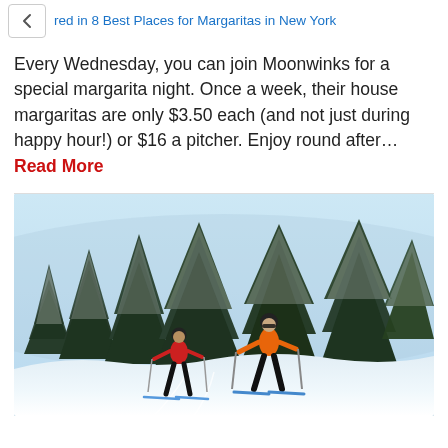red in 8 Best Places for Margaritas in New York
Every Wednesday, you can join Moonwinks for a special margarita night. Once a week, their house margaritas are only $3.50 each (and not just during happy hour!) or $16 a pitcher. Enjoy round after... Read More
[Figure (photo): Two cross-country skiers on a snowy trail surrounded by snow-covered evergreen trees under a pale blue winter sky. The skier in the foreground wears an orange jacket and black pants; the skier behind wears a red jacket and black pants.]